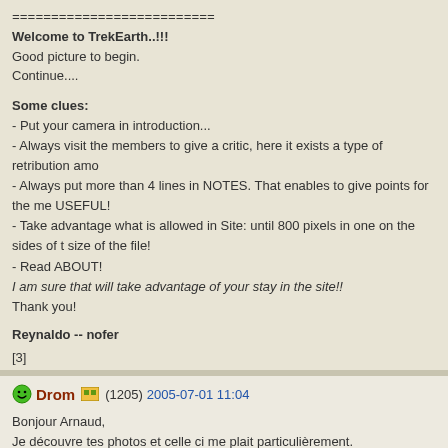==========================
Welcome to TrekEarth..!!!
Good picture to begin.
Continue....
Some clues:
- Put your camera in introduction...
- Always visit the members to give a critic, here it exists a type of retribution amo
- Always put more than 4 lines in NOTES. That enables to give points for the me USEFUL!
- Take advantage what is allowed in Site: until 800 pixels in one on the sides of t size of the file!
- Read ABOUT!
I am sure that will take advantage of your stay in the site!!
Thank you!
Reynaldo -- nofer
[3]
Drom (1205) 2005-07-01 11:04
Bonjour Arnaud,
Je découvre tes photos et celle ci me plait particulièrement.
Le cadrage est super avec les deux visages dans l'axe.
J'aimerais bien découvrir le Népal!
Dominique